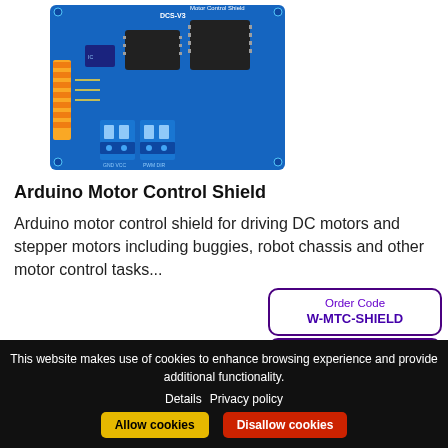[Figure (photo): Arduino Motor Control Shield PCB board photo, blue PCB with yellow headers, black chips, and blue terminal connectors]
Arduino Motor Control Shield
Arduino motor control shield for driving DC motors and stepper motors including buggies, robot chassis and other motor control tasks...
Order Code
W-MTC-SHIELD
Price: $7.69
This website makes use of cookies to enhance browsing experience and provide additional functionality. Details Privacy policy Allow cookies Disallow cookies